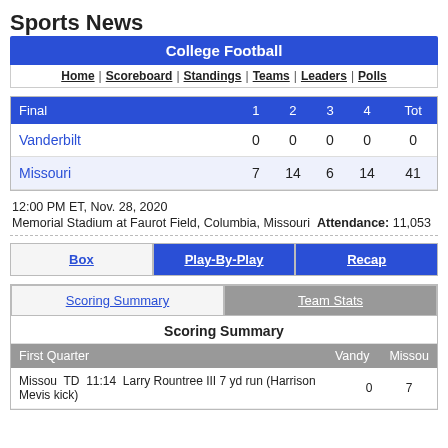Sports News
College Football
Home | Scoreboard | Standings | Teams | Leaders | Polls
| Final | 1 | 2 | 3 | 4 | Tot |
| --- | --- | --- | --- | --- | --- |
| Vanderbilt | 0 | 0 | 0 | 0 | 0 |
| Missouri | 7 | 14 | 6 | 14 | 41 |
12:00 PM ET, Nov. 28, 2020
Memorial Stadium at Faurot Field, Columbia, Missouri  Attendance: 11,053
Box | Play-By-Play | Recap
Scoring Summary | Team Stats
Scoring Summary
First Quarter  Vandy  Missou
Missou TD 11:14 Larry Rountree III 7 yd run (Harrison Mevis kick)  0  7